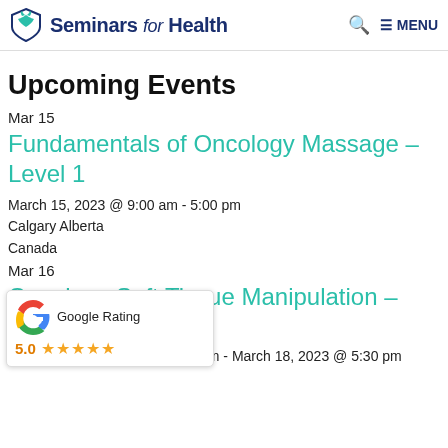Seminars FOR Health
Upcoming Events
Mar 15
Fundamentals of Oncology Massage – Level 1
March 15, 2023 @ 9:00 am - 5:00 pm
Calgary Alberta
Canada
Mar 16
Oncology Soft Tissue Manipulation – Level 2
March 18, 2023 @ 5:30 pm
Calgary Alberta